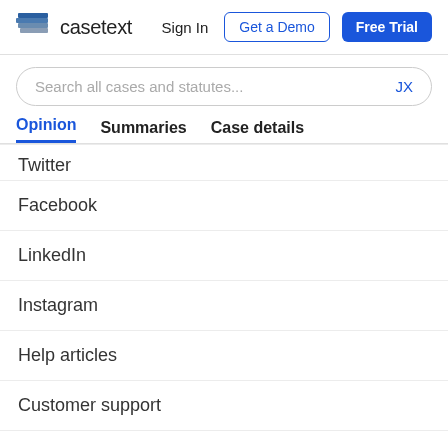[Figure (logo): Casetext logo with stacked pages icon and wordmark]
Search all cases and statutes... JX
Opinion   Summaries   Case details
Twitter
Facebook
LinkedIn
Instagram
Help articles
Customer support
Contact sales
Privacy
Terms